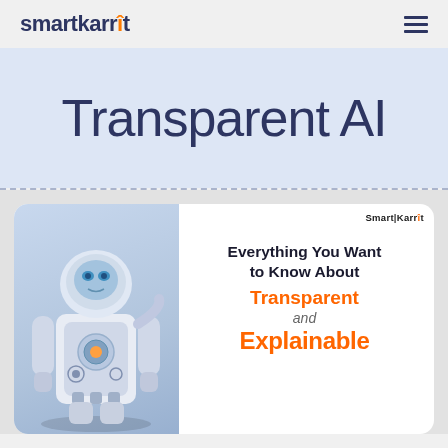smartkarrit  ≡
Transparent AI
[Figure (infographic): Infographic card with a robot figure on the left and text on the right reading: SmartKarrit | Everything You Want to Know About Transparent and Explainable (AI)]